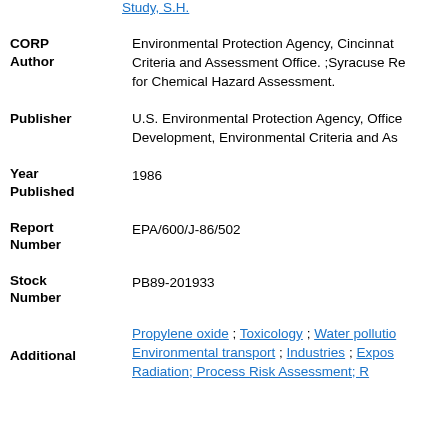Study, S.H.
CORP Author: Environmental Protection Agency, Cincinnati Criteria and Assessment Office. ;Syracuse Re for Chemical Hazard Assessment.
Publisher: U.S. Environmental Protection Agency, Office Development, Environmental Criteria and As
Year Published: 1986
Report Number: EPA/600/J-86/502
Stock Number: PB89-201933
Additional Subjects: Propylene oxide ; Toxicology ; Water pollutio Environmental transport ; Industries ; Expos